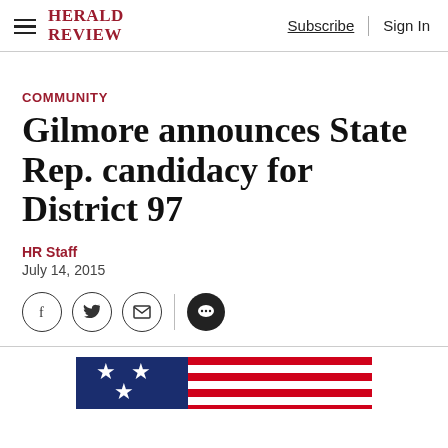HERALD REVIEW | Subscribe | Sign In
COMMUNITY
Gilmore announces State Rep. candidacy for District 97
HR Staff
July 14, 2015
[Figure (photo): American flag photo strip at bottom of page]